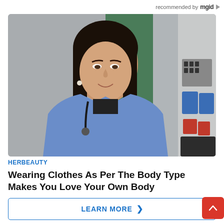recommended by mgid
[Figure (photo): Young woman with dark shoulder-length hair, wearing a blue ribbed knit cardigan over a black top, smiling at the camera. Background shows grey metal surfaces and a shelf with blue and red containers on the right side.]
HERBEAUTY
Wearing Clothes As Per The Body Type Makes You Love Your Own Body
LEARN MORE >